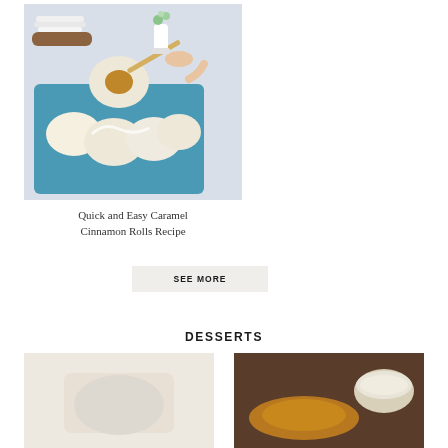[Figure (photo): Photo of caramel cinnamon rolls in a blue baking dish, being lifted with a spatula, with plates and a flower vase in the background]
Quick and Easy Caramel Cinnamon Rolls Recipe
SEE MORE
DESSERTS
[Figure (photo): Dessert photo, light beige background, appears to show a baked good]
[Figure (photo): Dessert photo showing what appears to be caramel or chocolate dessert with a glass bowl of cream]